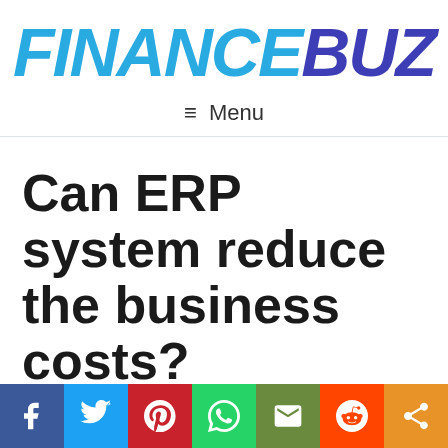[Figure (logo): FinanceBuz logo: FINANCE in light blue italic bold, BUZ in dark blue/purple italic bold]
≡ Menu
Can ERP system reduce the business costs?
[Figure (infographic): Social sharing bar with 7 icons: Facebook (blue), Twitter (light blue), Pinterest (red), WhatsApp (green), Email (olive green), Reddit (orange-red), Share (orange)]